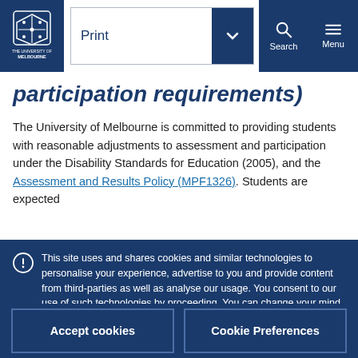[Figure (logo): University of Melbourne logo with crest and text on dark blue background]
participation requirements)
The University of Melbourne is committed to providing students with reasonable adjustments to assessment and participation under the Disability Standards for Education (2005), and the Assessment and Results Policy (MPF1326). Students are expected
This site uses and shares cookies and similar technologies to personalise your experience, advertise to you and provide content from third-parties as well as analyse our usage. You consent to our use of such technologies by proceeding. You can change your mind or consent choices at any time. Visit our Privacy Statement for further information.
Accept cookies
Cookie Preferences